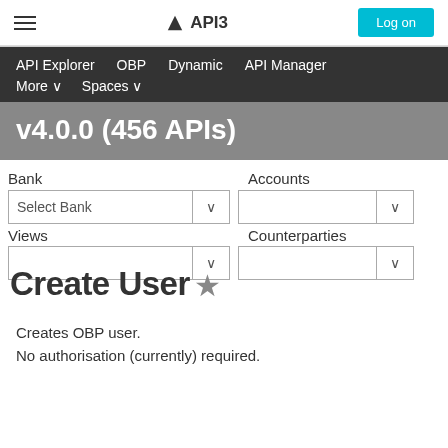API3
API Explorer   OBP   Dynamic   API Manager   More   Spaces
v4.0.0 (456 APIs)
Bank   Accounts   Select Bank   Views   Counterparties
Create User ★
Creates OBP user.
No authorisation (currently) required.